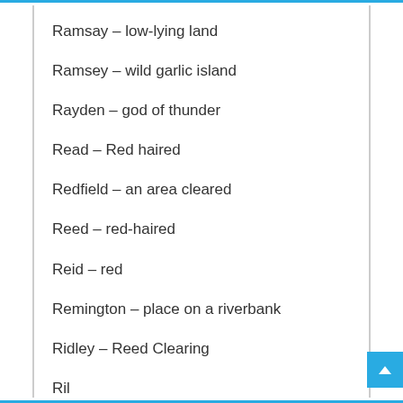Ramsay – low-lying land
Ramsey – wild garlic island
Rayden – god of thunder
Read – Red haired
Redfield – an area cleared
Reed – red-haired
Reid – red
Remington – place on a riverbank
Ridley – Reed Clearing
Ril…